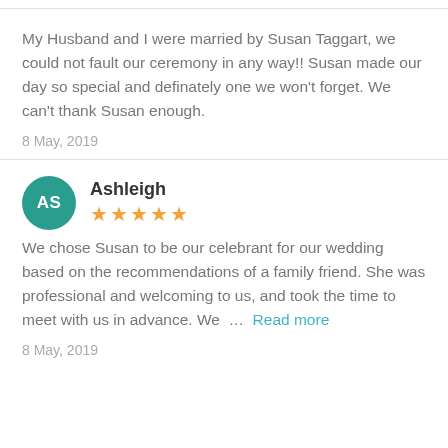My Husband and I were married by Susan Taggart, we could not fault our ceremony in any way!! Susan made our day so special and definately one we won't forget. We can't thank Susan enough.
8 May, 2019
[Figure (other): Teal circular avatar with white initials AS]
Ashleigh
[Figure (other): Five orange stars rating]
We chose Susan to be our celebrant for our wedding based on the recommendations of a family friend. She was professional and welcoming to us, and took the time to meet with us in advance. We ... Read more
8 May, 2019